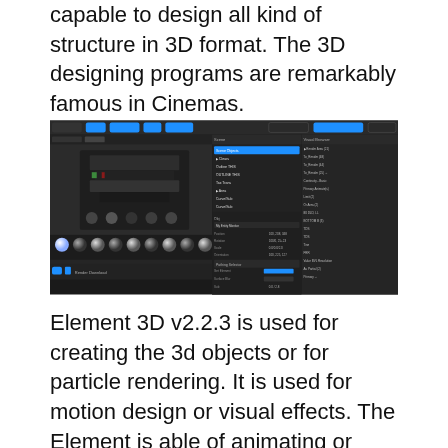capable to design all kind of structure in 3D format. The 3D designing programs are remarkably famous in Cinemas.
[Figure (screenshot): Screenshot of Element 3D software interface showing a 3D rendering of a complex structure in the viewport, along with material/texture panels and scene hierarchy on the right side.]
Element 3D v2.2.3 is used for creating the 3d objects or for particle rendering. It is used for motion design or visual effects. The Element is able of animating or rendering which uses its own renderer to produce a higher quality distinct result like a document...